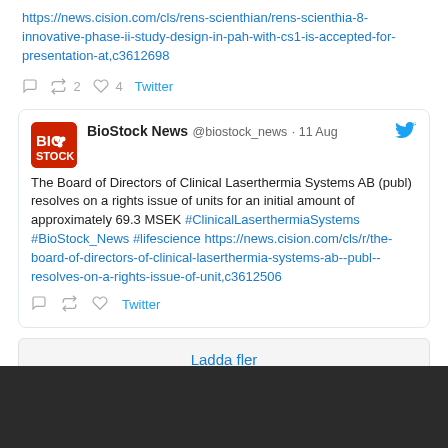https://news.cision.com/cls/rens-scienthian/rens-scienthia-8-innovative-phase-ii-study-design-in-pah-with-cs1-is-accepted-for-presentation-at,c3612698
2  4  Twitter
[Figure (screenshot): BioStock News tweet card with avatar logo, username @biostock_news, date 11 Aug, Twitter bird icon, and tweet body text about Clinical Laserthermia Systems AB rights issue]
The Board of Directors of Clinical Laserthermia Systems AB (publ) resolves on a rights issue of units for an initial amount of approximately 69.3 MSEK #ClinicalLaserthermiaSystems #BioStock_News #lifescience https://news.cision.com/cls/r/the-board-of-directors-of-clinical-laserthermia-systems-ab--publ--resolves-on-a-rights-issue-of-unit,c3612506
Twitter
Ladda fler